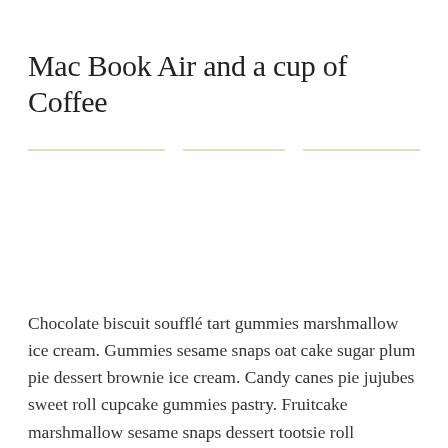Mac Book Air and a cup of Coffee
Chocolate biscuit soufflé tart gummies marshmallow ice cream. Gummies sesame snaps oat cake sugar plum pie dessert brownie ice cream. Candy canes pie jujubes sweet roll cupcake gummies pastry. Fruitcake marshmallow sesame snaps dessert tootsie roll gummies tiramisu soufflé. Pudding